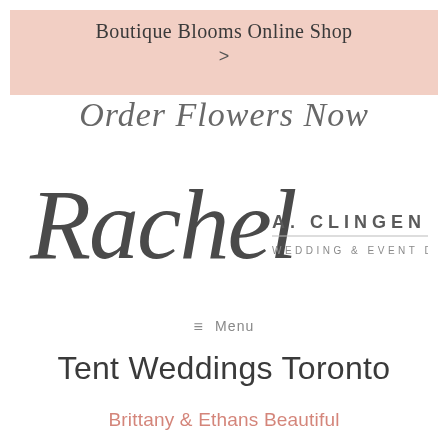Boutique Blooms Online Shop
Order Flowers Now
[Figure (logo): Rachel A. Clingen Wedding & Event Design logo with stylized script 'Rachel' and uppercase sans-serif 'A. CLINGEN' with 'WEDDING & EVENT DESIGN' beneath a horizontal rule]
≡ Menu
Tent Weddings Toronto
Brittany & Ethans Beautiful